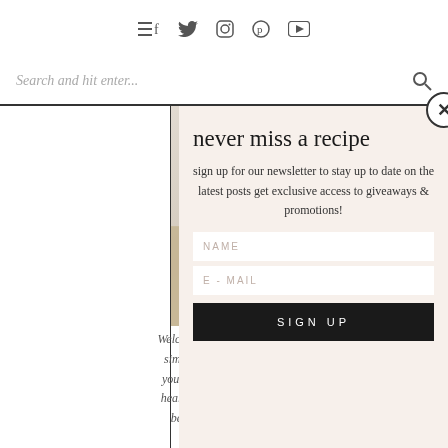Navigation bar with menu, twitter, instagram, pinterest, youtube icons
Search and hit enter...
[Figure (photo): Kitchen photo showing marble countertop and wooden cabinets]
Welcome! I'm... simple, del... yours. Here... healthy, and... because...
GET
never miss a recipe
sign up for our newsletter to stay up to date on the latest posts get exclusive access to giveaways & promotions!
NAME
E-MAIL
SIGN UP